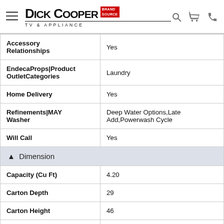Dick Cooper TV & Appliance — Brand Source
| Attribute | Value |
| --- | --- |
| Accessory Relationships | Yes |
| EndecaProps|Product OutletCategories | Laundry |
| Home Delivery | Yes |
| Refinements|MAY Washer | Deep Water Options,Late Add,Powerwash Cycle |
| Will Call | Yes |
| ▲ Dimension |  |
| Capacity (Cu Ft) | 4.20 |
| Carton Depth | 29 |
| Carton Height | 46 |
| Carton Width | 29 |